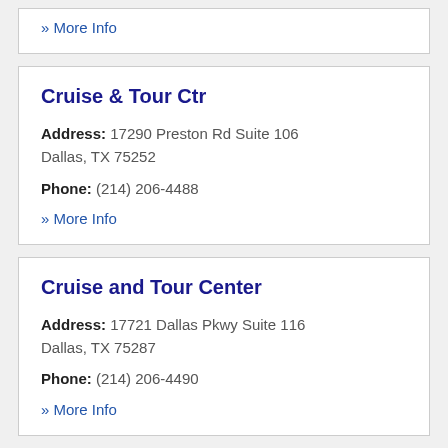» More Info
Cruise & Tour Ctr
Address: 17290 Preston Rd Suite 106 Dallas, TX 75252
Phone: (214) 206-4488
» More Info
Cruise and Tour Center
Address: 17721 Dallas Pkwy Suite 116 Dallas, TX 75287
Phone: (214) 206-4490
» More Info